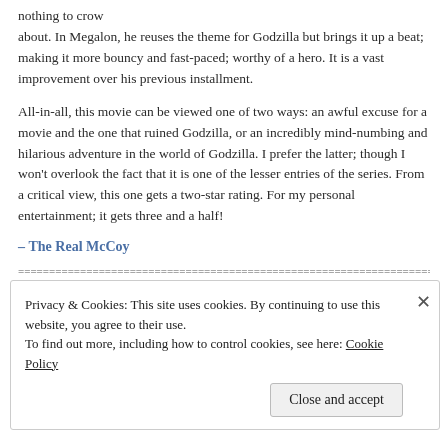nothing to crow about. In Megalon, he reuses the theme for Godzilla but brings it up a beat; making it more bouncy and fast-paced; worthy of a hero. It is a vast improvement over his previous installment.
All-in-all, this movie can be viewed one of two ways: an awful excuse for a movie and the one that ruined Godzilla, or an incredibly mind-numbing and hilarious adventure in the world of Godzilla. I prefer the latter; though I won't overlook the fact that it is one of the lesser entries of the series. From a critical view, this one gets a two-star rating. For my personal entertainment; it gets three and a half!
– The Real McCoy
==================================================================================
Privacy & Cookies: This site uses cookies. By continuing to use this website, you agree to their use.
To find out more, including how to control cookies, see here: Cookie Policy